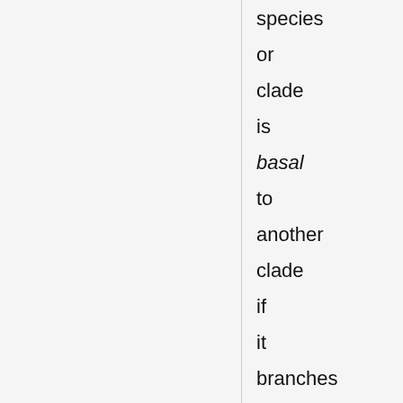species or clade is basal to another clade if it branches off toward the bottom,